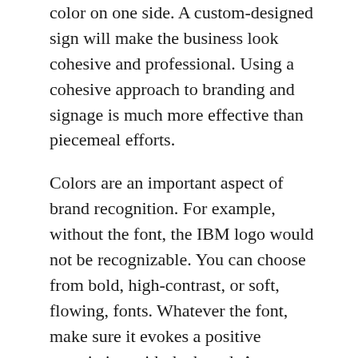color on one side. A custom-designed sign will make the business look cohesive and professional. Using a cohesive approach to branding and signage is much more effective than piecemeal efforts.
Colors are an important aspect of brand recognition. For example, without the font, the IBM logo would not be recognizable. You can choose from bold, high-contrast, or soft, flowing, fonts. Whatever the font, make sure it evokes a positive association with the brand. A custom sign will promote brand recognition and boost sales for your business. A custom-designed sign will have your customers recognizing your brand as soon as they see it.
Custom-made signs are another important component of great custom signage. They can express your company's values and appeal to potential customers. Signs are easy to create, and a